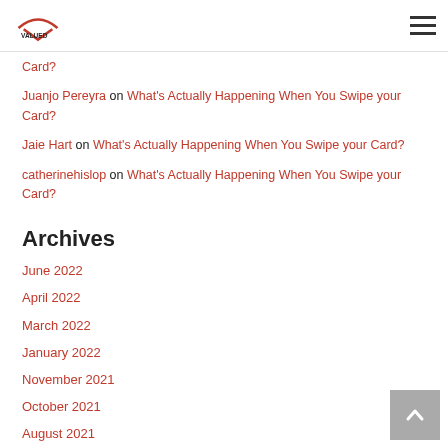Valued [logo] — navigation menu
Card?
Juanjo Pereyra on What's Actually Happening When You Swipe your Card?
Jaie Hart on What's Actually Happening When You Swipe your Card?
catherinehislop on What's Actually Happening When You Swipe your Card?
Archives
June 2022
April 2022
March 2022
January 2022
November 2021
October 2021
August 2021
July 2021
June 2021